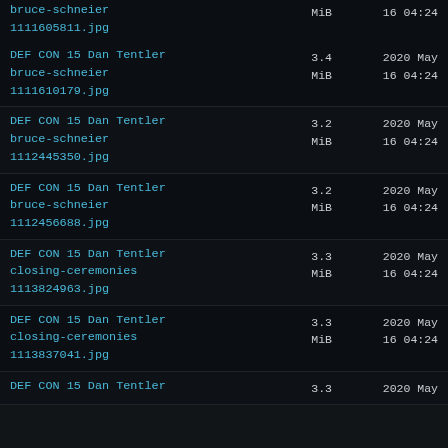bruce-schneier 1111605811.jpg | MiB | 16 04:24
DEF CON 15 Dan Tentler bruce-schneier 1111610179.jpg | 3.4 MiB | 2020 May 16 04:24
DEF CON 15 Dan Tentler bruce-schneier 1112445350.jpg | 3.2 MiB | 2020 May 16 04:24
DEF CON 15 Dan Tentler bruce-schneier 1112456688.jpg | 3.2 MiB | 2020 May 16 04:24
DEF CON 15 Dan Tentler closing-ceremonies 1113824963.jpg | 3.3 MiB | 2020 May 16 04:24
DEF CON 15 Dan Tentler closing-ceremonies 1113837041.jpg | 3.3 MiB | 2020 May 16 04:24
DEF CON 15 Dan Tentler ... | 3.3 | 2020 May